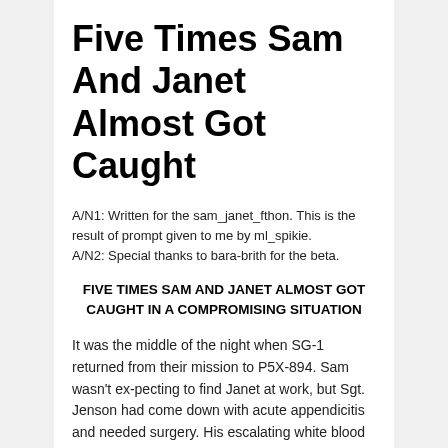Five Times Sam And Janet Almost Got Caught
A/N1: Written for the sam_janet_fthon. This is the result of prompt given to me by ml_spikie.
A/N2: Special thanks to bara-brith for the beta.
FIVE TIMES SAM AND JANET ALMOST GOT CAUGHT IN A COMPROMISING SITUATION
It was the middle of the night when SG-1 returned from their mission to P5X-894. Sam wasn't ex-pecting to find Janet at work, but Sgt. Jenson had come down with acute appendicitis and needed surgery. His escalating white blood count indicated it wouldn't be wise to put off the surgery until morning. So, after Dr. Peterson completed their post-mission physicals, Sam stuck around and waited for Janet to get out of surgery.